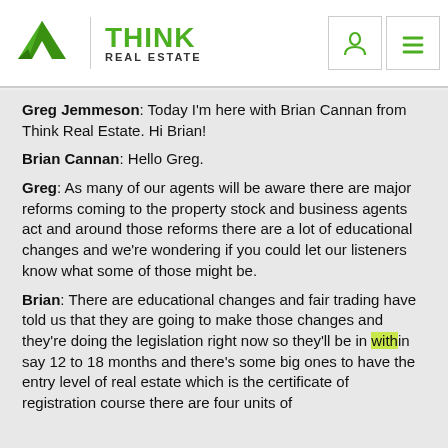Think Real Estate
Greg Jemmeson: Today I'm here with Brian Cannan from Think Real Estate. Hi Brian!
Brian Cannan: Hello Greg.
Greg: As many of our agents will be aware there are major reforms coming to the property stock and business agents act and around those reforms there are a lot of educational changes and we're wondering if you could let our listeners know what some of those might be.
Brian: There are educational changes and fair trading have told us that they are going to make those changes and they're doing the legislation right now so they'll be in within say 12 to 18 months and there's some big ones to have the entry level of real estate which is the certificate of registration course there are four units of